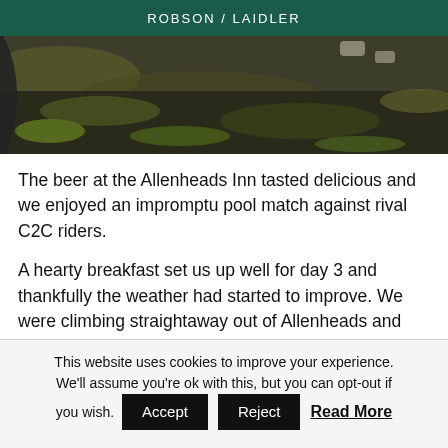ROBSON / LAIDLER
[Figure (photo): Photograph of mossy, stony ground with dark gravel and patches of green moss, partial view of a bicycle tyre on the left edge]
The beer at the Allenheads Inn tasted delicious and we enjoyed an impromptu pool match against rival C2C riders.
A hearty breakfast set us up well for day 3 and thankfully the weather had started to improve. We were climbing straightaway out of Allenheads and within 90 mins we were at the foot of the
This website uses cookies to improve your experience. We'll assume you're ok with this, but you can opt-out if you wish.
Accept  Reject  Read More